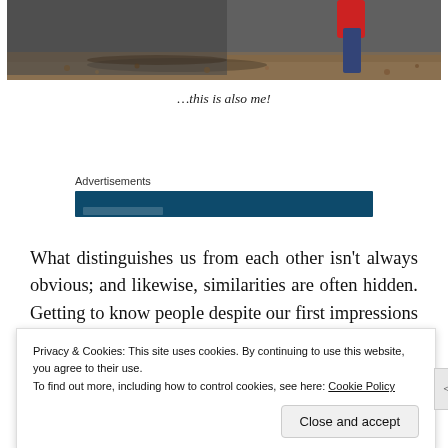[Figure (photo): Cropped photo showing lower body/legs near a sidewalk with dried leaves/mulch; a red and blue object (possibly a tool or toy) is visible in the upper right area.]
…this is also me!
Advertisements
What distinguishes us from each other isn't always obvious; and likewise, similarities are often hidden. Getting to know people despite our first impressions (whether they are
Privacy & Cookies: This site uses cookies. By continuing to use this website, you agree to their use.
To find out more, including how to control cookies, see here: Cookie Policy
Close and accept